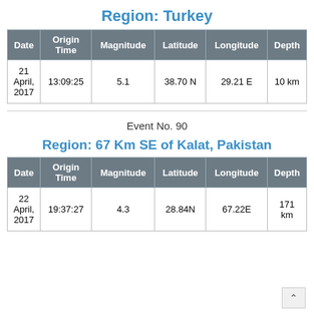Region: Turkey
| Date | Origin Time | Magnitude | Latitude | Longitude | Depth |
| --- | --- | --- | --- | --- | --- |
| 21 April, 2017 | 13:09:25 | 5.1 | 38.70 N | 29.21 E | 10 km |
Event No. 90
Region: 67 Km SE of Kalat, Pakistan
| Date | Origin Time | Magnitude | Latitude | Longitude | Depth |
| --- | --- | --- | --- | --- | --- |
| 22 April, 2017 | 19:37:27 | 4.3 | 28.84N | 67.22E | 171 km |